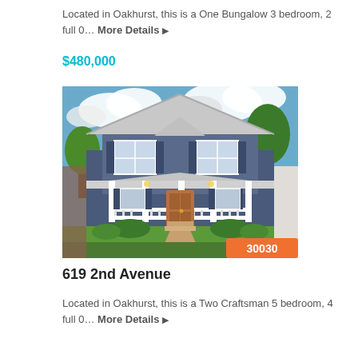Located in Oakhurst, this is a One Bungalow 3 bedroom, 2 full 0… More Details ▶
$480,000
[Figure (photo): Exterior photo of a two-story craftsman-style house with blue siding, white porch columns and railing, front porch, wooden front door, and landscaped yard. Badge showing zip code 30030 in bottom-right corner.]
619 2nd Avenue
Located in Oakhurst, this is a Two Craftsman 5 bedroom, 4 full 0… More Details ▶